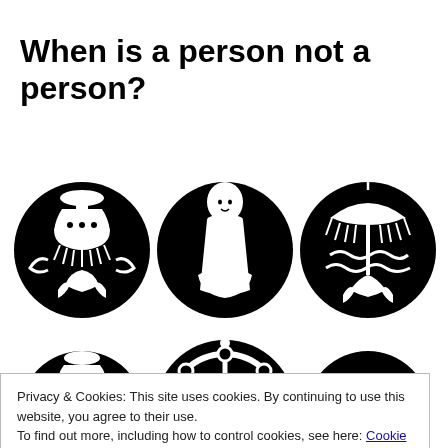When is a person not a person?
[Figure (illustration): Six circular black icons with white Buddhist/spiritual symbols arranged in two rows: row 1 - decorative vessel/parasol with lotus, meditating monk with prayer hands, ceremonial umbrella with lotus; row 2 - covered vessel/bowl, dharma wheel, endless knot pattern]
Privacy & Cookies: This site uses cookies. By continuing to use this website, you agree to their use.
To find out more, including how to control cookies, see here: Cookie Policy
Close and accept